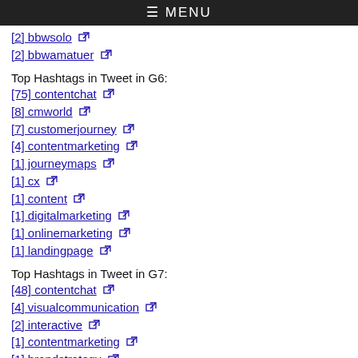≡ MENU
[2] bbwsolo
[2] bbwamatuer
Top Hashtags in Tweet in G6:
[75] contentchat
[8] cmworld
[7] customerjourney
[4] contentmarketing
[1] journeymaps
[1] cx
[1] content
[1] digitalmarketing
[1] onlinemarketing
[1] landingpage
Top Hashtags in Tweet in G7:
[48] contentchat
[4] visualcommunication
[2] interactive
[1] contentmarketing
[1] brandstrategy
[1] infographics
[1] ebooks
[1] visualcontent
[1] marketing